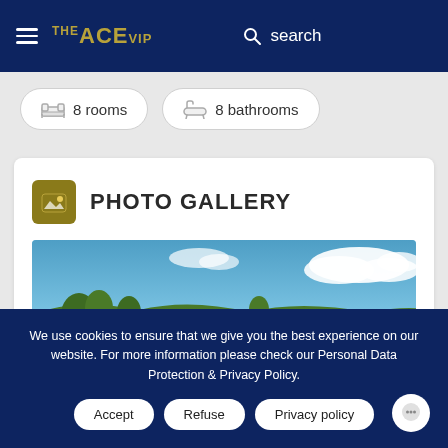THE ACE VIP — search
8 rooms  8 bathrooms
PHOTO GALLERY
[Figure (photo): Exterior view of white Mediterranean-style villa buildings with trees, hillside, and blue sky with clouds in the background]
We use cookies to ensure that we give you the best experience on our website. For more information please check our Personal Data Protection & Privacy Policy.
Accept  Refuse  Privacy policy